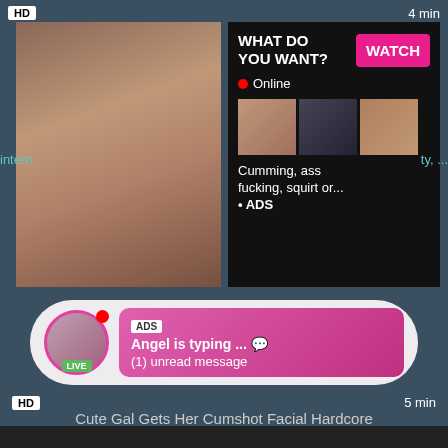[Figure (screenshot): Adult video thumbnail with HD badge and 4 min duration label]
[Figure (screenshot): Ad overlay: WHAT DO YOU WANT? with WATCH button, Online status, thumbnails, text Cumming, ass fucking, squirt or... ADS]
intern
ty, ...
[Figure (screenshot): Chat widget ad: avatar with LIVE badge, ADS label, Angel is typing ... (1) unread message]
HD    5 min
Cute Gal Gets Her Cumshot Facial Hardcore
cumshot, facial, hardcore, blonde, latina, milf, blowjob, h...
[Figure (screenshot): Dark bottom video thumbnail strip]